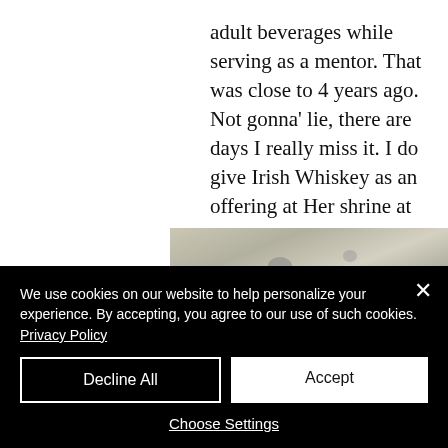adult beverages while serving as a mentor. That was close to 4 years ago. Not gonna' lie, there are days I really miss it. I do give Irish Whiskey as an offering at Her shrine at the Smithy. Not a temptation. Not a sacrifice.
[Figure (photo): Partial view of a textured stone or concrete surface with dark spots, partially visible; a tan/brown element with a star icon is visible on the right edge.]
We use cookies on our website to help personalize your experience. By accepting, you agree to our use of such cookies. Privacy Policy
Decline All
Accept
Choose Settings